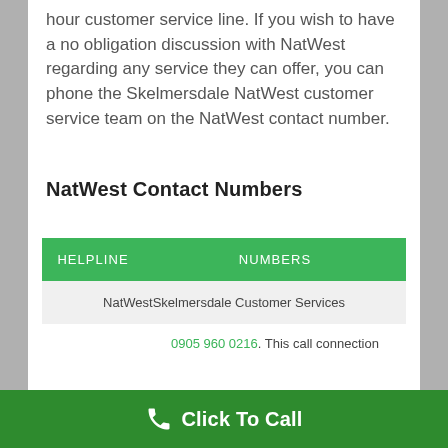hour customer service line. If you wish to have a no obligation discussion with NatWest regarding any service they can offer, you can phone the Skelmersdale NatWest customer service team on the NatWest contact number.
NatWest Contact Numbers
| HELPLINE | NUMBERS |
| --- | --- |
| NatWestSkelmersdale Customer Services |  |
|  | 0905 960 0216. This call connection |
Click To Call